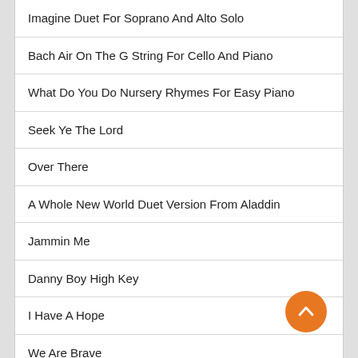Imagine Duet For Soprano And Alto Solo
Bach Air On The G String For Cello And Piano
What Do You Do Nursery Rhymes For Easy Piano
Seek Ye The Lord
Over There
A Whole New World Duet Version From Aladdin
Jammin Me
Danny Boy High Key
I Have A Hope
We Are Brave
Credit Go And Get It With Your Good Credit
Come Thou Fount Piano And Voice